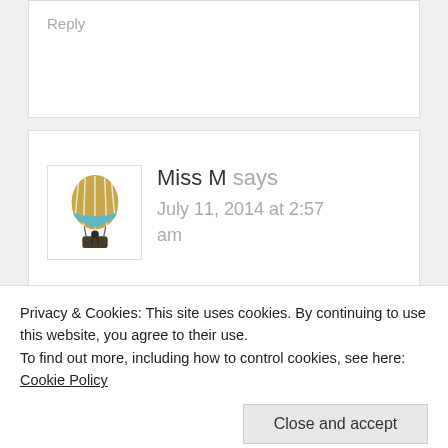Reply
[Figure (illustration): Hot air balloon avatar icon — golden balloon with white lines, teal band, dark gondola with figure]
Miss M says
July 11, 2014 at 2:57 am
I would spend the entire day at the spa, then spend the next day
Privacy & Cookies: This site uses cookies. By continuing to use this website, you agree to their use.
To find out more, including how to control cookies, see here: Cookie Policy
Close and accept
Miss M